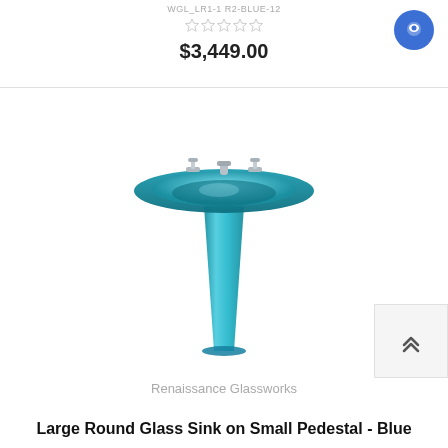$3,449.00
[Figure (photo): A large round turquoise/blue glass sink bowl mounted on a small narrow pedestal, with chrome faucet handles visible at the top. The sink and pedestal are both a vibrant teal/blue glass color.]
Renaissance Glassworks
Large Round Glass Sink on Small Pedestal - Blue